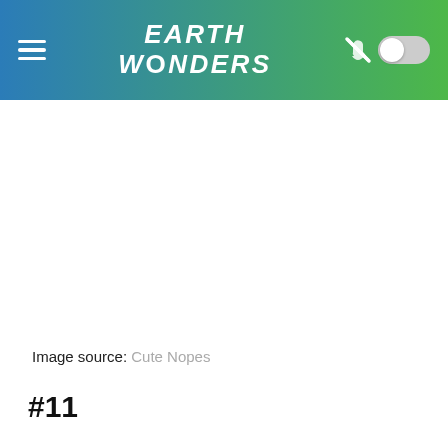EARTH WONDERS
Image source: Cute Nopes
#11